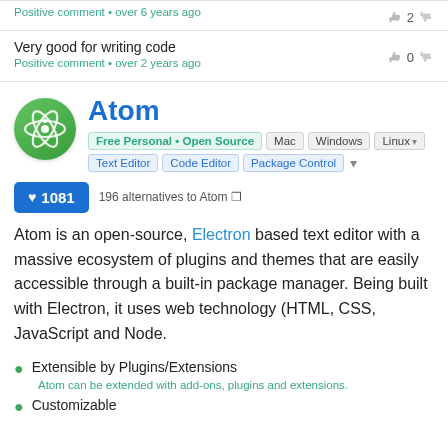Positive comment • over 6 years ago
Very good for writing code
Positive comment • over 2 years ago
Atom
Free Personal • Open Source  Mac  Windows  Linux  Text Editor  Code Editor  Package Control
♥ 1081
196 alternatives to Atom
Atom is an open-source, Electron based text editor with a massive ecosystem of plugins and themes that are easily accessible through a built-in package manager. Being built with Electron, it uses web technology (HTML, CSS, JavaScript and Node.
Extensible by Plugins/Extensions
Atom can be extended with add-ons, plugins and extensions.
Customizable